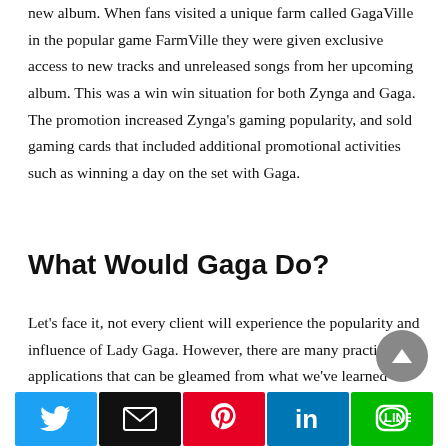new album.  When fans visited a unique farm called GagaVille in the popular game FarmVille they were given exclusive access to new tracks and unreleased songs from her upcoming album.  This was a win win situation for both Zynga and Gaga.  The promotion increased Zynga's gaming popularity, and sold gaming cards that included additional promotional activities such as winning a day on the set with Gaga.
What Would Gaga Do?
Let's face it, not every client will experience the popularity and influence of Lady Gaga.  However, there are many practical applications that can be gleamed from what we've learned about the pop music mogul's online and social media presence.  I urge you to take some time and ask
[Figure (infographic): Social sharing bar with Twitter, Email, Pinterest, LinkedIn, and LINE buttons]